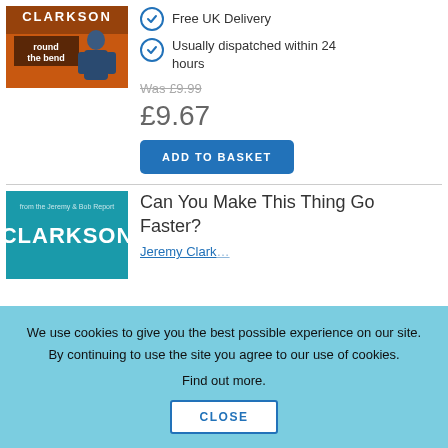[Figure (photo): Book cover of 'Clarkson Round the Bend' with orange background and person silhouette]
Free UK Delivery
Usually dispatched within 24 hours
Was £9.99
£9.67
ADD TO BASKET
[Figure (photo): Book cover of 'Clarkson Can You Make This Thing Go Faster?' with teal background]
Can You Make This Thing Go Faster?
Jeremy Clarkson
We use cookies to give you the best possible experience on our site. By continuing to use the site you agree to our use of cookies.
Find out more.
CLOSE